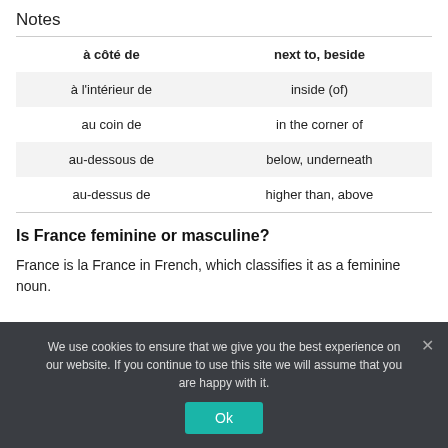Notes
|  |  |
| --- | --- |
| à côté de | next to, beside |
| à l'intérieur de | inside (of) |
| au coin de | in the corner of |
| au-dessous de | below, underneath |
| au-dessus de | higher than, above |
Is France feminine or masculine?
France is la France in French, which classifies it as a feminine noun.
We use cookies to ensure that we give you the best experience on our website. If you continue to use this site we will assume that you are happy with it.